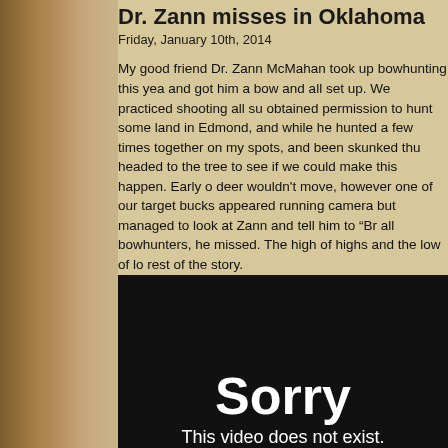Dr. Zann misses in Oklahoma
Friday, January 10th, 2014
My good friend Dr. Zann McMahan took up bowhunting this year and got him a bow and all set up.  We practiced shooting all summer, obtained permission to hunt some land in Edmond, and while he hunted a few times together on my spots, and been skunked thus far, headed to the tree to see if we could make this happen.  Early on, deer wouldn't move, however one of our target bucks appeared ... running camera but managed to look at Zann and tell him to "Br... all bowhunters, he missed.  The high of highs and the low of low... rest of the story.
[Figure (screenshot): Video player showing error message: Sorry, This video does not exist.]